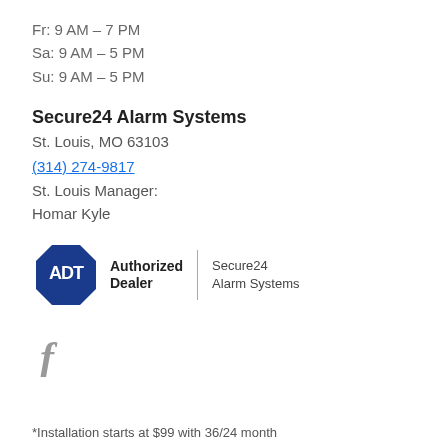Fr: 9 AM – 7 PM
Sa: 9 AM – 5 PM
Su: 9 AM – 5 PM
Secure24 Alarm Systems
St. Louis, MO 63103
(314) 274-9817
St. Louis Manager:
Homar Kyle
[Figure (logo): ADT Authorized Dealer logo with Secure24 Alarm Systems text]
[Figure (logo): Facebook icon (f)]
*Installation starts at $99 with 36/24 month